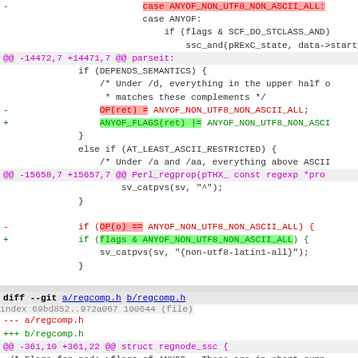diff --git a/regcomp.c b/regcomp.c (partial diff view showing code changes to ANYOF_NON_UTF8_NON_ASCII_ALL handling)
diff --git a/regcomp.h b/regcomp.h index 69bd852..972a067 100644 (file) --- a/regcomp.h +++ b/regcomp.h @@ -361,10 +361,22 @@ struct regnode_ssc { /* Flags for node->flags of ANYOF. These are in short supp * currently available. If more are needed, the ABOVE_LATI * freed up by resorting to creating a swash containing eve * This introduces a performance penalty. An option...